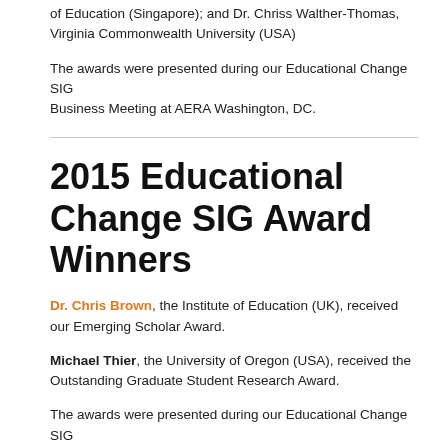of Education (Singapore); and Dr. Chriss Walther-Thomas, Virginia Commonwealth University (USA)
The awards were presented during our Educational Change SIG Business Meeting at AERA Washington, DC.
2015 Educational Change SIG Award Winners
Dr. Chris Brown, the Institute of Education (UK), received our Emerging Scholar Award.
Michael Thier, the University of Oregon (USA), received the Outstanding Graduate Student Research Award.
The awards were presented during our Educational Change SIG Business Meeting at AERA Chicago.